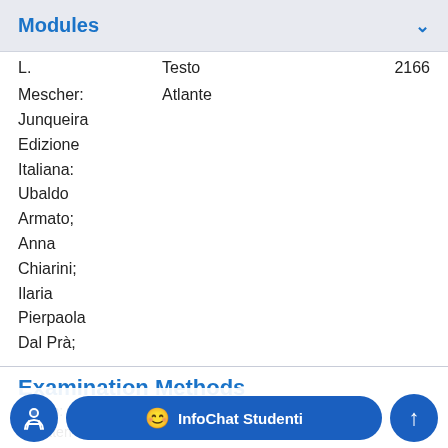Modules
L.    Testo    2166
Mescher:    Atlante
Junqueira
Edizione
Italiana:
Ubaldo
Armato;
Anna
Chiarini;
Ilaria
Pierpaola
Dal Prà;
Examination Methods
ination: written open q...s.
A written intermediate test regarding the first part of the